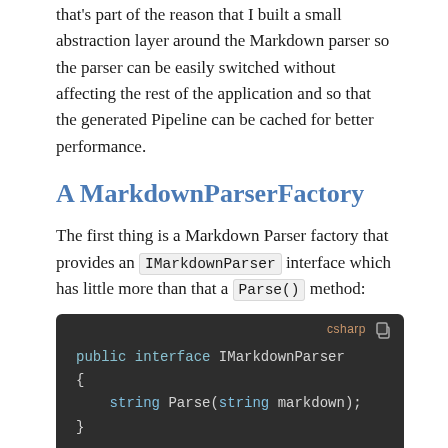that's part of the reason that I built a small abstraction layer around the Markdown parser so the parser can be easily switched without affecting the rest of the application and so that the generated Pipeline can be cached for better performance.
A MarkdownParserFactory
The first thing is a Markdown Parser factory that provides an IMarkdownParser interface which has little more than that a Parse() method:
[Figure (screenshot): Dark-themed code block showing C# interface definition: public interface IMarkdownParser { string Parse(string markdown); } with csharp label and copy icon in top right]
The Factory then produces the Interface with at this